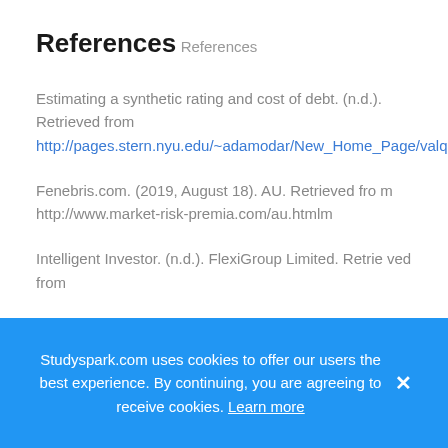References
References
Estimating a synthetic rating and cost of debt. (n.d.). Retrieved from http://pages.stern.nyu.edu/~adamodar/New_Home_Page/valquestions/syntrating.htm
Fenebris.com. (2019, August 18). AU. Retrieved from http://www.market-risk-premia.com/au.htmlm
Intelligent Investor. (n.d.). FlexiGroup Limited. Retrieved from
Studyspark.com uses cookies to offer our users the best experience. By continuing, you are agreeing to receive cookies. Learn more